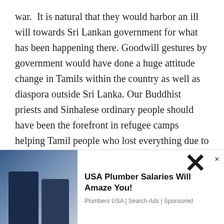war.  It is natural that they would harbor an ill will towards Sri Lankan government for what has been happening there. Goodwill gestures by government would have done a huge attitude change in Tamils within the country as well as diaspora outside Sri Lanka. Our Buddhist priests and Sinhalese ordinary people should have been the forefront in refugee camps helping Tamil people who lost everything due to the war. Act of Kindness by Buddhist priests and Sinhalese towards Tamils would have done much more to spread Buddha's message across North and East, tha
[Figure (photo): Advertisement photo showing two men (plumbers) standing in front of a blue van]
USA Plumber Salaries Will Amaze You!
Plumbers USA | Search Ads | Sponsored